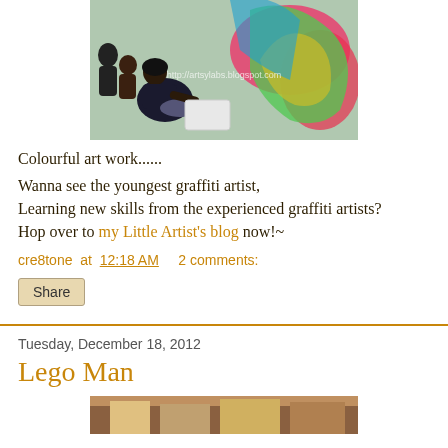[Figure (photo): Photo of a person sitting on the floor painting graffiti on a colorful wall mural. A watermark URL is visible in the center of the image.]
Colourful art work......
Wanna see the youngest graffiti artist,
Learning new skills from the experienced graffiti artists?
Hop over to my Little Artist's blog now!~
cre8tone at 12:18 AM    2 comments:
Share
Tuesday, December 18, 2012
Lego Man
[Figure (photo): Partial view of a photo at the bottom of the page, content not fully visible.]